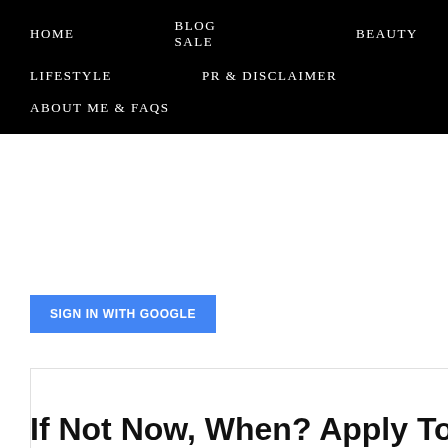HOME   BLOG SALE   BEAUTY   LIFESTYLE   PR & DISCLAIMER   ABOUT ME & FAQs
SIGN IN WITH GOOGLE
[Figure (other): White content box area]
If Not Now, When? Apply Toda